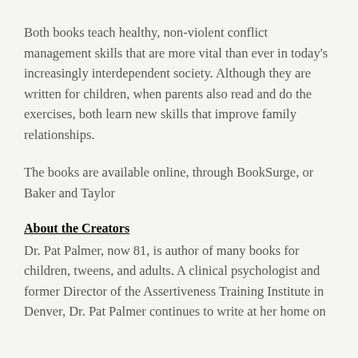Both books teach healthy, non-violent conflict management skills that are more vital than ever in today's increasingly interdependent society. Although they are written for children, when parents also read and do the exercises, both learn new skills that improve family relationships.
The books are available online, through BookSurge, or Baker and Taylor
About the Creators
Dr. Pat Palmer, now 81, is author of many books for children, tweens, and adults. A clinical psychologist and former Director of the Assertiveness Training Institute in Denver, Dr. Pat Palmer continues to write at her home on